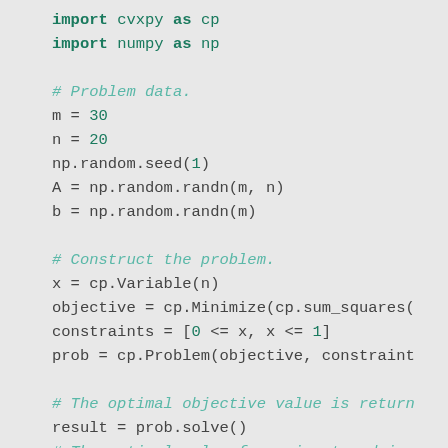import cvxpy as cp
import numpy as np

# Problem data.
m = 30
n = 20
np.random.seed(1)
A = np.random.randn(m, n)
b = np.random.randn(m)

# Construct the problem.
x = cp.Variable(n)
objective = cp.Minimize(cp.sum_squares(
constraints = [0 <= x, x <= 1]
prob = cp.Problem(objective, constraint

# The optimal objective value is return
result = prob.solve()
# The optimal value for x is stored in
print(x.value)
# The optimal Lagrange multiplier for a
# `constraint.dual_value`.
print(constraints[0].dual_value)